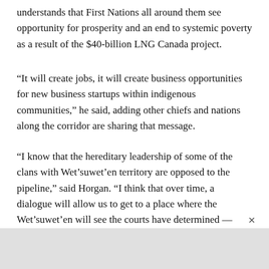understands that First Nations all around them see opportunity for prosperity and an end to systemic poverty as a result of the $40-billion LNG Canada project.
“It will create jobs, it will create business opportunities for new business startups within indigenous communities,” he said, adding other chiefs and nations along the corridor are sharing that message.
“I know that the hereditary leadership of some of the clans with Wet’suwet’en territory are opposed to the pipeline,” said Horgan. “I think that over time, a dialogue will allow us to get to a place where the Wet’suwet’en will see the courts have determined — the provincial government and the federal government have determined — that the permits are in order, this is a legitimate project that has massive benefits to B.C.,